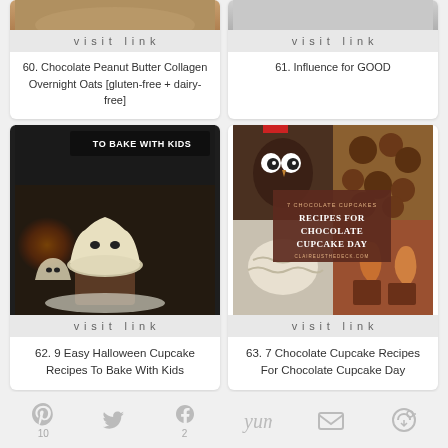[Figure (photo): Top-left cropped photo thumbnail]
visit link
60. Chocolate Peanut Butter Collagen Overnight Oats [gluten-free + dairy-free]
[Figure (photo): Top-right cropped photo thumbnail]
visit link
61. Influence for GOOD
[Figure (photo): Halloween ghost cupcakes with text TO BAKE WITH KIDS]
visit link
62. 9 Easy Halloween Cupcake Recipes To Bake With Kids
[Figure (photo): Chocolate cupcake collage with overlay text: 7 CHOCOLATE CUPCAKES - RECIPES FOR CHOCOLATE CUPCAKE DAY - CLAIREUSTHEDECK.COM]
visit link
63. 7 Chocolate Cupcake Recipes For Chocolate Cupcake Day
Social share bar with icons for Pinterest (10), Twitter, Facebook (2), Yum, Email, Camera